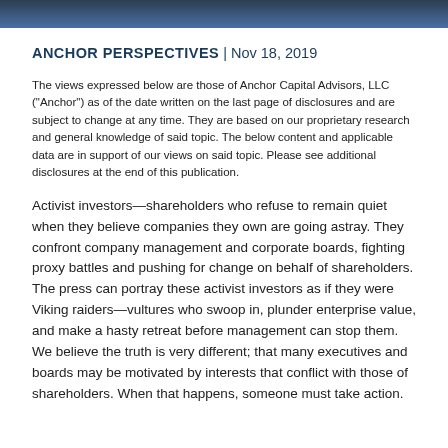ANCHOR PERSPECTIVES | Nov 18, 2019
The views expressed below are those of Anchor Capital Advisors, LLC ("Anchor") as of the date written on the last page of disclosures and are subject to change at any time. They are based on our proprietary research and general knowledge of said topic. The below content and applicable data are in support of our views on said topic. Please see additional disclosures at the end of this publication.
Activist investors—shareholders who refuse to remain quiet when they believe companies they own are going astray. They confront company management and corporate boards, fighting proxy battles and pushing for change on behalf of shareholders. The press can portray these activist investors as if they were Viking raiders—vultures who swoop in, plunder enterprise value, and make a hasty retreat before management can stop them. We believe the truth is very different; that many executives and boards may be motivated by interests that conflict with those of shareholders. When that happens, someone must take action.